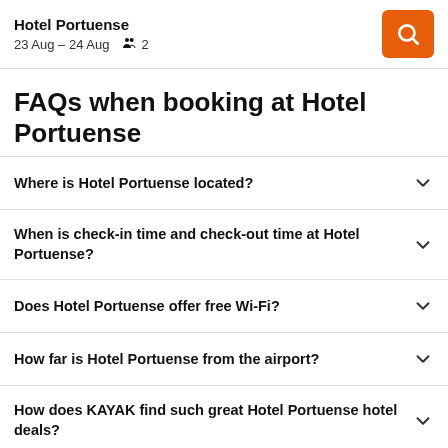Hotel Portuense
23 Aug – 24 Aug  2
FAQs when booking at Hotel Portuense
Where is Hotel Portuense located?
When is check-in time and check-out time at Hotel Portuense?
Does Hotel Portuense offer free Wi-Fi?
How far is Hotel Portuense from the airport?
How does KAYAK find such great Hotel Portuense hotel deals?